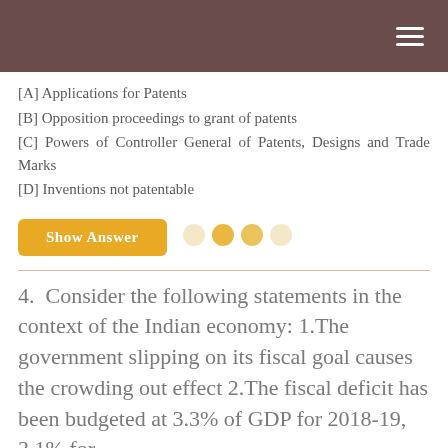[A] Applications for Patents
[B] Opposition proceedings to grant of patents
[C] Powers of Controller General of Patents, Designs and Trade Marks
[D] Inventions not patentable
Show Answer
4. Consider the following statements in the context of the Indian economy: 1.The government slipping on its fiscal goal causes the crowding out effect 2.The fiscal deficit has been budgeted at 3.3% of GDP for 2018-19, 3.1% for